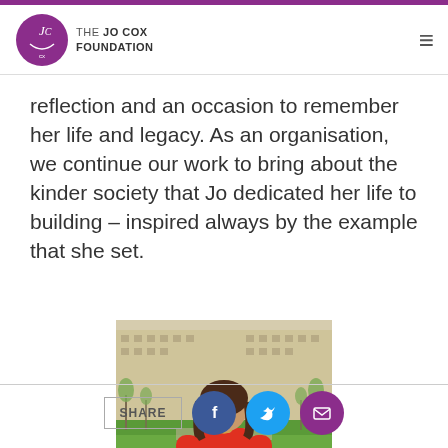THE JO COX FOUNDATION
reflection and an occasion to remember her life and legacy. As an organisation, we continue our work to bring about the kinder society that Jo dedicated her life to building – inspired always by the example that she set.
[Figure (photo): A woman in a red/orange top smiling in front of the Houses of Parliament, London]
SHARE [Facebook] [Twitter] [Email]